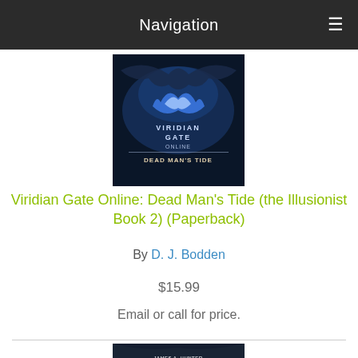Navigation
[Figure (illustration): Book cover for Viridian Gate Online: Dead Man's Tide — dark fantasy book cover with blue fire/dragon imagery and title text]
Viridian Gate Online: Dead Man's Tide (the Illusionist Book 2) (Paperback)
By D. J. Bodden
$15.99
Email or call for price.
[Figure (illustration): Book cover for Rogue Evolution by James A. Hunter & Eden Hudson — dark fantasy book cover with dragon and armored warrior imagery]